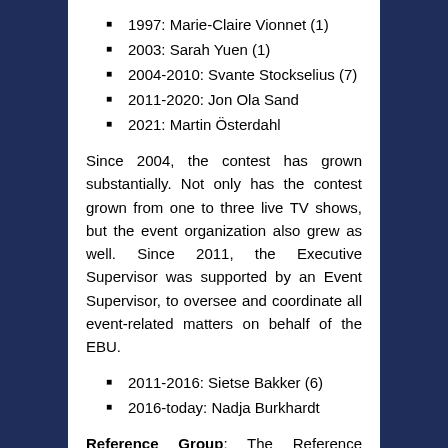1997: Marie-Claire Vionnet (1)
2003: Sarah Yuen (1)
2004-2010: Svante Stockselius (7)
2011-2020: Jon Ola Sand
2021: Martin Österdahl
Since 2004, the contest has grown substantially. Not only has the contest grown from one to three live TV shows, but the event organization also grew as well. Since 2011, the Executive Supervisor was supported by an Event Supervisor, to oversee and coordinate all event-related matters on behalf of the EBU.
2011-2016: Sietse Bakker (6)
2016-today: Nadja Burkhardt
Reference Group: The Reference Group, established in 1998, is the executive committee of the Eurovision Song Contest. Its purpose is to oversee the organisation and guide the contest on behalf of the Participating Broadcasters.